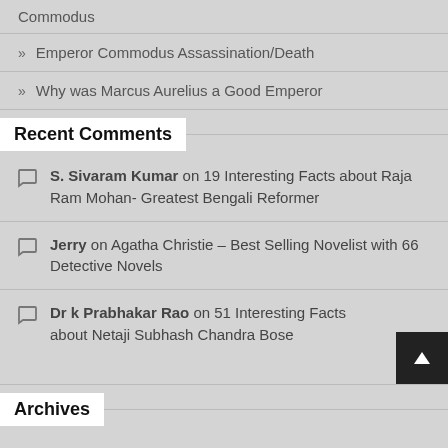Commodus
Emperor Commodus Assassination/Death
Why was Marcus Aurelius a Good Emperor
Recent Comments
S. Sivaram Kumar on 19 Interesting Facts about Raja Ram Mohan- Greatest Bengali Reformer
Jerry on Agatha Christie – Best Selling Novelist with 66 Detective Novels
Dr k Prabhakar Rao on 51 Interesting Facts about Netaji Subhash Chandra Bose
Archives